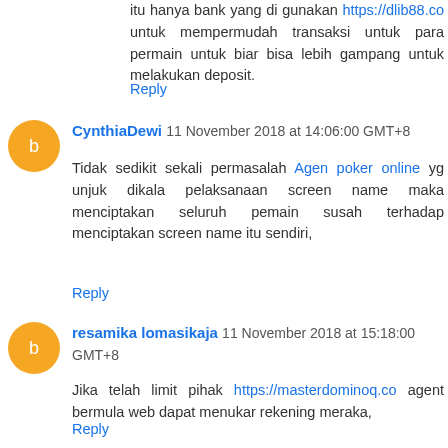itu hanya bank yang di gunakan https://dlib88.co untuk mempermudah transaksi untuk para permain untuk biar bisa lebih gampang untuk melakukan deposit.
Reply
CynthiaDewi 11 November 2018 at 14:06:00 GMT+8
Tidak sedikit sekali permasalah Agen poker online yg unjuk dikala pelaksanaan screen name maka menciptakan seluruh pemain susah terhadap menciptakan screen name itu sendiri,
Reply
resamika lomasikaja 11 November 2018 at 15:18:00 GMT+8
Jika telah limit pihak https://masterdominoq.co agent bermula web dapat menukar rekening meraka,
Reply